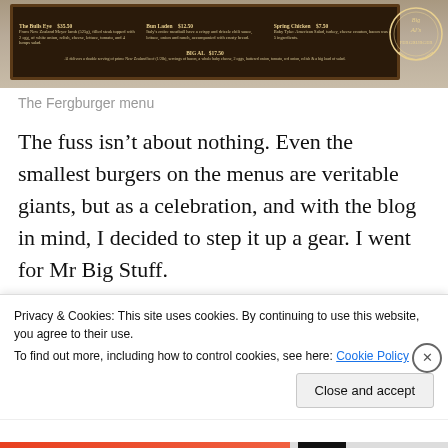[Figure (photo): Photo of a Fergburger menu board mounted on a dark wooden frame, showing menu items including The Bulls Eye, Bun Laden, Spring Chicken, and Big Al with prices.]
The Fergburger menu
The fuss isn't about nothing. Even the smallest burgers on the menus are veritable giants, but as a celebration, and with the blog in mind, I decided to step it up a gear. I went for Mr Big Stuff.
[Figure (photo): Photo of framed pictures on a wall inside a restaurant.]
Privacy & Cookies: This site uses cookies. By continuing to use this website, you agree to their use.
To find out more, including how to control cookies, see here: Cookie Policy
Close and accept